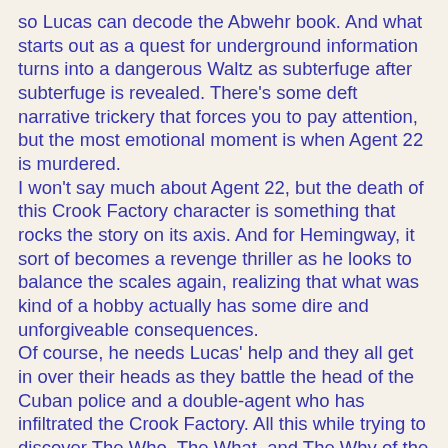so Lucas can decode the Abwehr book. And what starts out as a quest for underground information turns into a dangerous Waltz as subterfuge after subterfuge is revealed. There's some deft narrative trickery that forces you to pay attention, but the most emotional moment is when Agent 22 is murdered.
I won't say much about Agent 22, but the death of this Crook Factory character is something that rocks the story on its axis. And for Hemingway, it sort of becomes a revenge thriller as he looks to balance the scales again, realizing that what was kind of a hobby actually has some dire and unforgiveable consequences.
Of course, he needs Lucas' help and they all get in over their heads as they battle the head of the Cuban police and a double-agent who has infiltrated the Crook Factory. All this while trying to discover The Who, The What, and The Why of the Abwehr code book.
Honestly, besides the personal vendetta Hemingway has against Maldonado and the double-agent, I found the Abwehr code book stuff kind of lackluster. Ironically, there's a moment of revenge that has a lot in common with one of the dealing-with-a-double-agent scenes in "Munich". Despite its